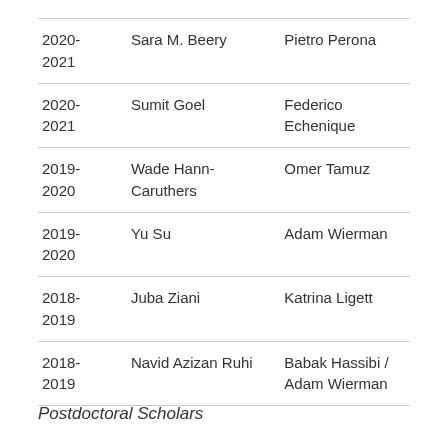| 2020-2021 | Sara M. Beery | Pietro Perona |
| 2020-2021 | Sumit Goel | Federico Echenique |
| 2019-2020 | Wade Hann-Caruthers | Omer Tamuz |
| 2019-2020 | Yu Su | Adam Wierman |
| 2018-2019 | Juba Ziani | Katrina Ligett |
| 2018-2019 | Navid Azizan Ruhi | Babak Hassibi / Adam Wierman |
Postdoctoral Scholars